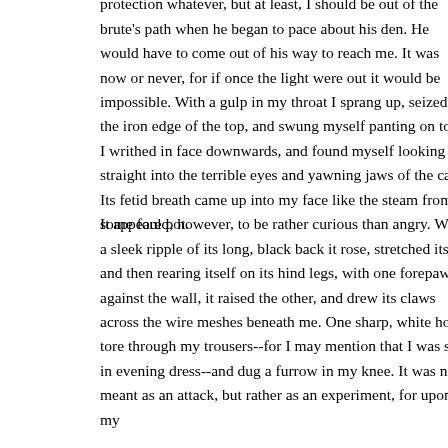protection whatever, but at least, I should be out of the brute's path when he began to pace about his den. He would have to come out of his way to reach me. It was now or never, for if once the light were out it would be impossible. With a gulp in my throat I sprang up, seized the iron edge of the top, and swung myself panting on to it. I writhed in face downwards, and found myself looking straight into the terrible eyes and yawning jaws of the cat. Its fetid breath came up into my face like the steam from some foul pot.
It appeared, however, to be rather curious than angry. With a sleek ripple of its long, black back it rose, stretched itself, and then rearing itself on its hind legs, with one forepaw against the wall, it raised the other, and drew its claws across the wire meshes beneath me. One sharp, white hook tore through my trousers--for I may mention that I was still in evening dress--and dug a furrow in my knee. It was not meant as an attack, but rather as an experiment, for upon my